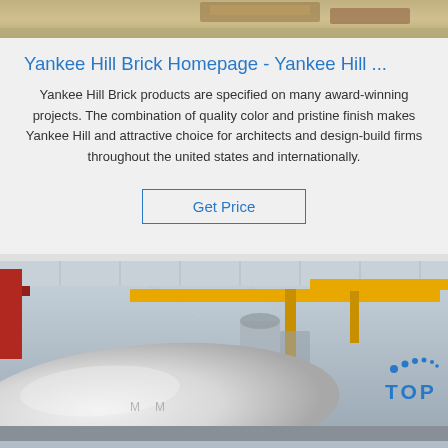[Figure (photo): Top portion of a photo showing warehouse or storage area with wooden pallets, partially cropped]
Yankee Hill Brick Homepage - Yankee Hill ...
Yankee Hill Brick products are specified on many award-winning projects. The combination of quality color and pristine finish makes Yankee Hill and attractive choice for architects and design-build firms throughout the united states and internationally.
Get Price
[Figure (photo): Factory interior showing large white cylindrical rolls, yellow overhead crane beams, and red structural girder. A 'TOP' watermark logo with blue dots appears in the bottom right corner.]